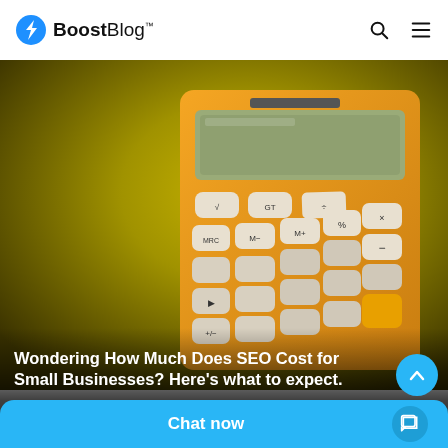BoostBlog™
[Figure (photo): Orange calculator on a yellow-green gradient background, photographed close-up showing calculator keys including MRC, M-, M+, % and arithmetic operator keys]
Wondering How Much Does SEO Cost for Small Businesses? Here's what to expect.
By  Matt Salzl
Chat now